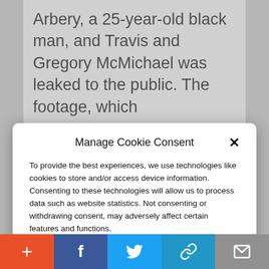Arbery, a 25-year-old black man, and Travis and Gregory McMichael was leaked to the public. The footage, which
Manage Cookie Consent
To provide the best experiences, we use technologies like cookies to store and/or access device information. Consenting to these technologies will allow us to process data such as website statistics. Not consenting or withdrawing consent, may adversely affect certain features and functions.
Accept
Cookie Policy  Privacy Policy
debate in the black conservative